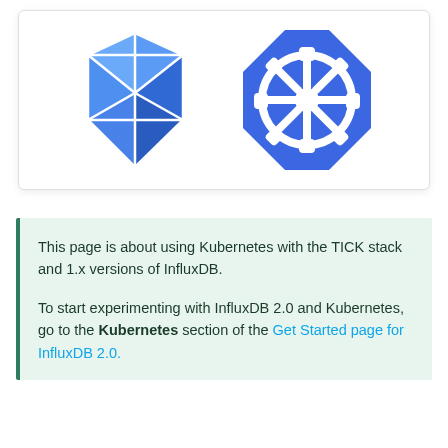[Figure (logo): Two logos side by side: InfluxDB blue geometric crystal logo on the left, and Kubernetes blue octagonal helm/wheel logo on the right]
This page is about using Kubernetes with the TICK stack and 1.x versions of InfluxDB.
To start experimenting with InfluxDB 2.0 and Kubernetes, go to the Kubernetes section of the Get Started page for InfluxDB 2.0.